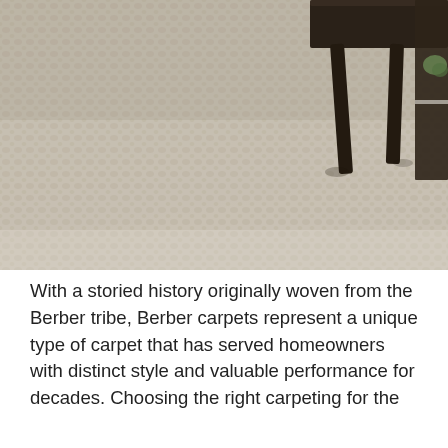[Figure (photo): Close-up photo of a textured light beige/cream Berber carpet with a woven looped pattern. A dark brown/black furniture leg (coffee table or bench) is visible in the upper portion of the image, resting on the carpet. The carpet shows a distinctive grid-like looped texture typical of Berber carpet style.]
With a storied history originally woven from the Berber tribe, Berber carpets represent a unique type of carpet that has served homeowners with distinct style and valuable performance for decades. Choosing the right carpeting for the